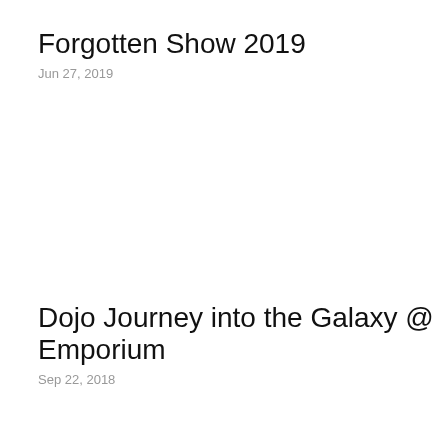Forgotten Show 2019
Jun 27, 2019
Dojo Journey into the Galaxy @ Emporium
Sep 22, 2018